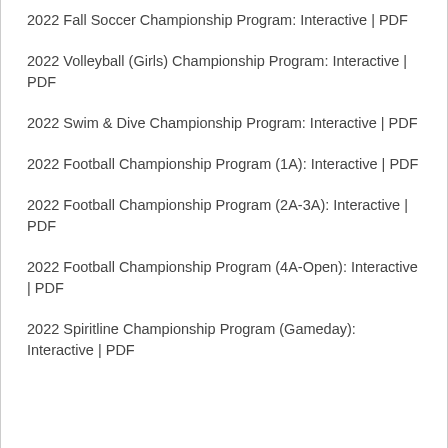2022 Fall Soccer Championship Program: Interactive | PDF
2022 Volleyball (Girls) Championship Program: Interactive | PDF
2022 Swim & Dive Championship Program: Interactive | PDF
2022 Football Championship Program (1A): Interactive | PDF
2022 Football Championship Program (2A-3A): Interactive | PDF
2022 Football Championship Program (4A-Open): Interactive | PDF
2022 Spiritline Championship Program (Gameday): Interactive | PDF